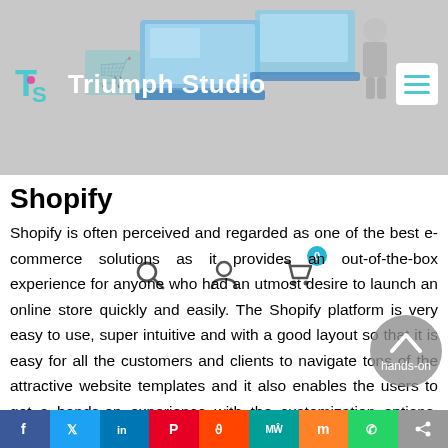[Figure (screenshot): Website header with isometric laptop/e-commerce illustration in blue tones, Triumph Studio logo on left, hamburger menu on right, grey background]
[Figure (illustration): Icon bar with search (magnifying glass), user/profile, and shopping cart icons with badge showing 0]
Shopify
Shopify is often perceived and regarded as one of the best e-commerce solutions as it provides an out-of-the-box experience for anyone who had an utmost desire to launch an online store quickly and easily. The Shopify platform is very easy to use, super intuitive and with a good layout so that it is easy for all the customers and clients to navigate tons of the attractive website templates and it also enables the users to get a hands-on experience with the customization options. There had been a plenty of successful Shopify stores from which you can purchase goods, services and products and can learn a lot of beneficial things. Business owners now can easily list a product
[Figure (other): Social sharing bar with icons for Facebook, Twitter, LinkedIn, Pinterest, Reddit, MeWe, Mix, WhatsApp, and Share]
[Figure (other): Scroll-to-top circular button with chevron arrow and hands-on label]